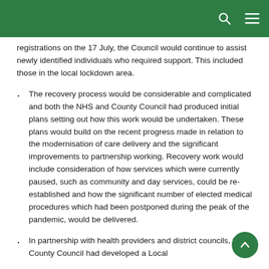registrations on the 17 July, the Council would continue to assist newly identified individuals who required support. This included those in the local lockdown area.
The recovery process would be considerable and complicated and both the NHS and County Council had produced initial plans setting out how this work would be undertaken. These plans would build on the recent progress made in relation to the modernisation of care delivery and the significant improvements to partnership working. Recovery work would include consideration of how services which were currently paused, such as community and day services, could be re-established and how the significant number of elected medical procedures which had been postponed during the peak of the pandemic, would be delivered.
In partnership with health providers and district councils, the County Council had developed a Local…